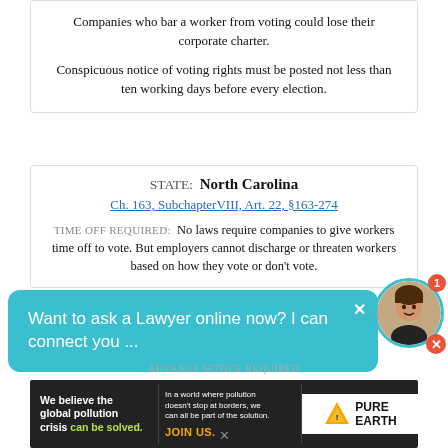Companies who bar a worker from voting could lose their corporate charter.
Conspicuous notice of voting rights must be posted not less than ten working days before every election.
STATE: North Carolina
Ch. 163, SubchapterVIII, Art. 22, §163-274
TIME OFF REQUIRED: No laws require companies to give workers time off to vote. But employers cannot discharge or threaten workers based on how they vote or don't vote.
Want to ask a Lawyer online now? I can connect you ...
ADVANCE NOTICE REQUIRED
[Figure (other): Advertisement banner: Pure Earth pollution crisis ad]
x